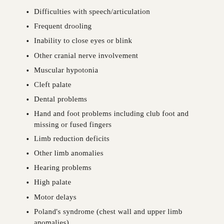Difficulties with speech/articulation
Frequent drooling
Inability to close eyes or blink
Other cranial nerve involvement
Muscular hypotonia
Cleft palate
Dental problems
Hand and foot problems including club foot and missing or fused fingers
Limb reduction deficits
Other limb anomalies
Hearing problems
High palate
Motor delays
Poland's syndrome (chest wall and upper limb anomalies)